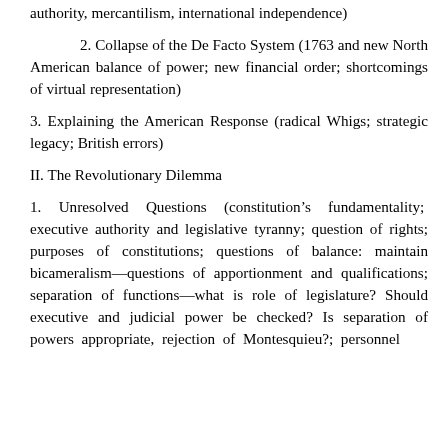authority, mercantilism, international independence)
2. Collapse of the De Facto System (1763 and new North American balance of power; new financial order; shortcomings of virtual representation)
3. Explaining the American Response (radical Whigs; strategic legacy; British errors)
II. The Revolutionary Dilemma
1. Unresolved Questions (constitution’s fundamentality; executive authority and legislative tyranny; question of rights; purposes of constitutions; questions of balance: maintain bicameralism—questions of apportionment and qualifications; separation of functions—what is role of legislature? Should executive and judicial power be checked? Is separation of powers appropriate, rejection of Montesquieu?; personnel